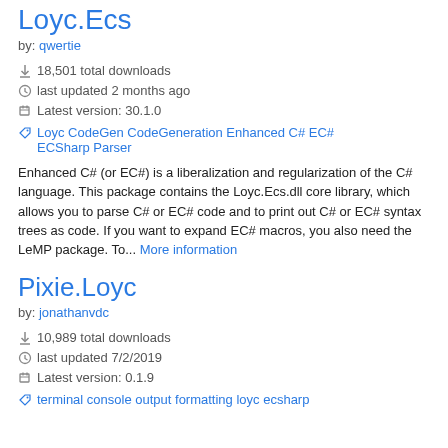Loyc.Ecs
by: qwertie
18,501 total downloads
last updated 2 months ago
Latest version: 30.1.0
Loyc CodeGen CodeGeneration Enhanced C# EC# ECSharp Parser
Enhanced C# (or EC#) is a liberalization and regularization of the C# language. This package contains the Loyc.Ecs.dll core library, which allows you to parse C# or EC# code and to print out C# or EC# syntax trees as code. If you want to expand EC# macros, you also need the LeMP package. To... More information
Pixie.Loyc
by: jonathanvdc
10,989 total downloads
last updated 7/2/2019
Latest version: 0.1.9
terminal console output formatting loyc ecsharp